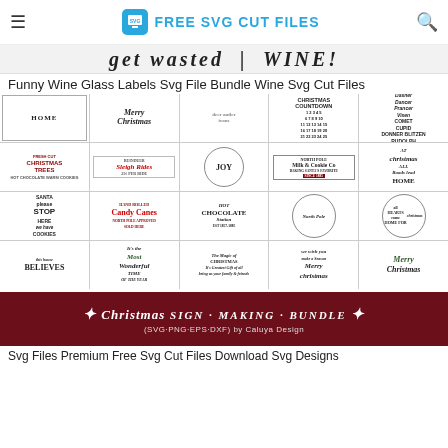FREE SVG CUT FILES
[Figure (illustration): Partial view of a wine-themed SVG graphic with cursive and bold text including 'get wasted' and 'WINE!']
Funny Wine Glass Labels Svg File Bundle Wine Svg Cut Files
[Figure (illustration): Grid of Christmas-themed SVG cut file designs including: HOME, Merry Christmas, Christmas Countdown, reindeer names, Christmas Trees, Sleigh Rides, Joy wreath, North Pole Milk & Cookie Co, At Christmas all roads lead Home, Santa Stop Here We Have Cookies, Hand Rolled Candy Canes North Pole Approved Sold Here, Hot Chocolate Station, North Pole, All Hearts Come Home for Christmas, This House Believes, It's the Most Wonderful Time of the Year, The Magic of Christmas, Merry Christmas (tree), Merry Christmas (script)]
[Figure (illustration): Dark red banner for Christmas Sign Making Bundle (SVG-PNG-EPS-DXF) by Caluya Design with decorative flourishes]
Svg Files Premium Free Svg Cut Files Download Svg Designs